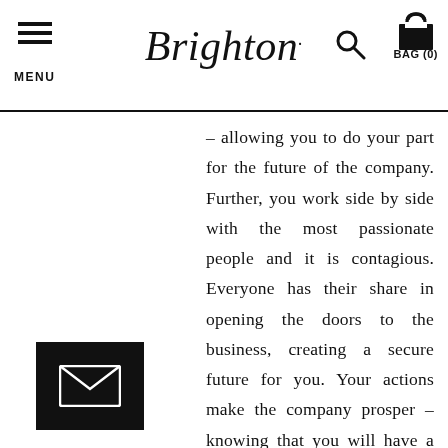MENU  Brighton.  BAG (0)
– allowing you to do your part for the future of the company. Further, you work side by side with the most passionate people and it is contagious. Everyone has their share in opening the doors to the business, creating a secure future for you. Your actions make the company prosper – knowing that you will have a job tomorrow allowing you to provide for yourself and your family. Above all, however, is that after 43 years, I look forward to getting up in the